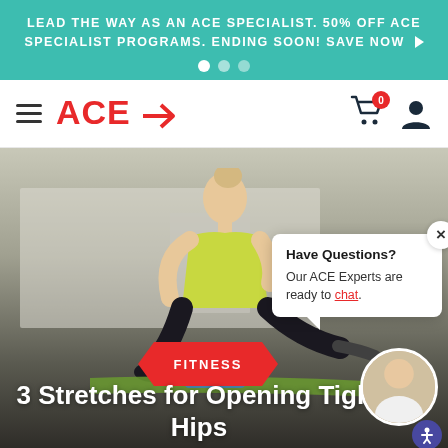LEAD THE WAY AS AN ACE SPECIALIST. 50% OFF ACE SPECIALIST PROGRAMS. ENDING SOON! SAVE NOW ▶
[Figure (logo): ACE logo with arrow, hamburger menu, cart icon with badge '0', user icon]
[Figure (photo): Woman in lunge stretch on yoga mat in gym, fitness article hero image with category badge FITNESS and chat popup overlay]
3 Stretches for Opening Tight Hips